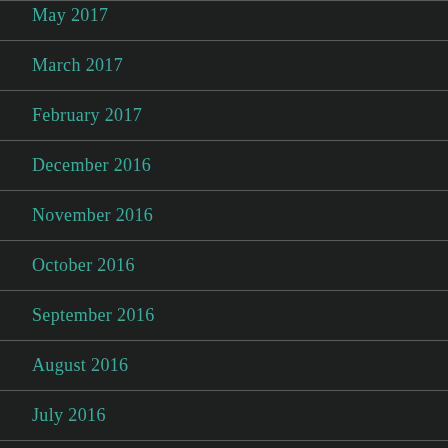May 2017
March 2017
February 2017
December 2016
November 2016
October 2016
September 2016
August 2016
July 2016